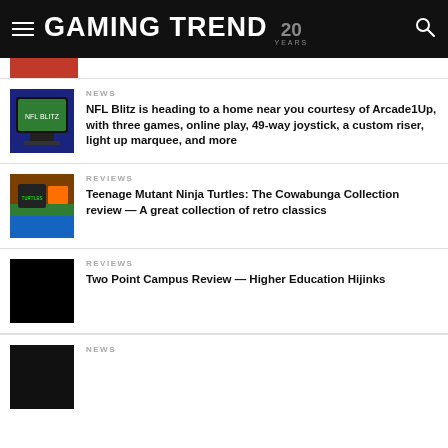GAMING TREND 20 YEARS
[Figure (photo): Partial article thumbnail, cropped at top of page]
NEWS
NFL Blitz is heading to a home near you courtesy of Arcade1Up, with three games, online play, 49-way joystick, a custom riser, light up marquee, and more
REVIEWS
Teenage Mutant Ninja Turtles: The Cowabunga Collection review — A great collection of retro classics
REVIEWS
Two Point Campus Review — Higher Education Hijinks
NEWS